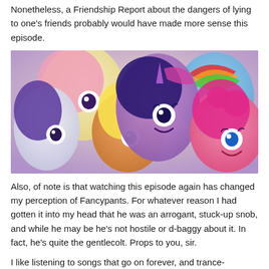Nonetheless, a Friendship Report about the dangers of lying to one's friends probably would have made more sense this episode.
[Figure (photo): Image of six My Little Pony characters (Rarity, Fluttershy, Applejack, Twilight Sparkle, Pinkie Pie, Rainbow Dash) together in a cheerful group pose from the animated series.]
Also, of note is that watching this episode again has changed my perception of Fancypants. For whatever reason I had gotten it into my head that he was an arrogant, stuck-up snob, and while he may be he's not hostile or d-baggy about it. In fact, he's quite the gentlecolt. Props to you, sir.
I like listening to songs that go on forever, and trance-y/dance-y/house-y remixes have a tendency to do just that. And what would you know, Becoming Popular lends itself quite well to trance-